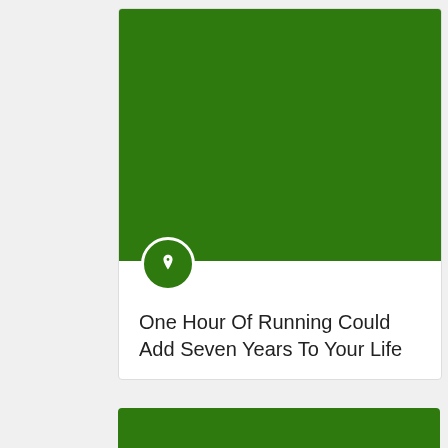[Figure (illustration): Dark green rectangle forming the top portion of a card with a white circular pin icon badge at the bottom-left edge]
One Hour Of Running Could Add Seven Years To Your Life
[Figure (illustration): Partial dark green rectangle at the bottom — top of a second card, cropped by the page edge]